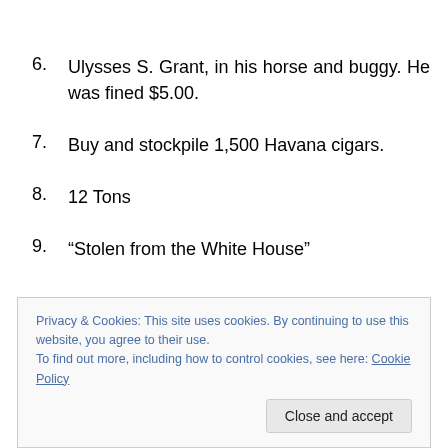6.   Ulysses S. Grant, in his horse and buggy. He was fined $5.00.
7.  Buy and stockpile 1,500 Havana cigars.
8.  12 Tons
9.  “Stolen from the White House”
Privacy & Cookies: This site uses cookies. By continuing to use this website, you agree to their use.
To find out more, including how to control cookies, see here: Cookie Policy